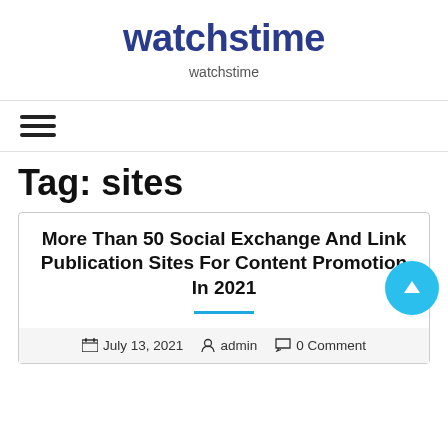watchstime
watchstime
[Figure (other): Hamburger menu icon (three horizontal lines)]
Tag: sites
More Than 50 Social Exchange And Link Publication Sites For Content Promotion In 2021
July 13, 2021   admin   0 Comment